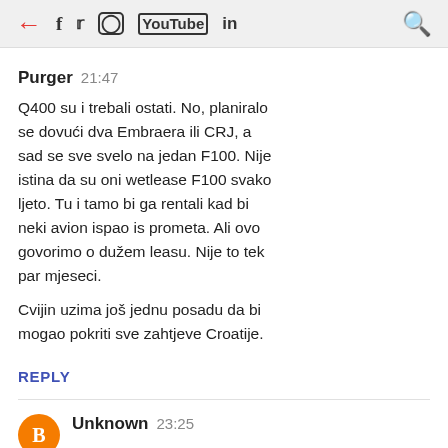← f tw ⊙ ▶ in 🔍
Purger  21:47
Q400 su i trebali ostati. No, planiralo se dovući dva Embraera ili CRJ, a sad se sve svelo na jedan F100. Nije istina da su oni wetlease F100 svako ljeto. Tu i tamo bi ga rentali kad bi neki avion ispao is prometa. Ali ovo govorimo o dužem leasu. Nije to tek par mjeseci.

Cvijin uzima još jednu posadu da bi mogao pokriti sve zahtjeve Croatije.
REPLY
Unknown  23:25
Btw a koliko bi mogle kostati karte iz ZAG za